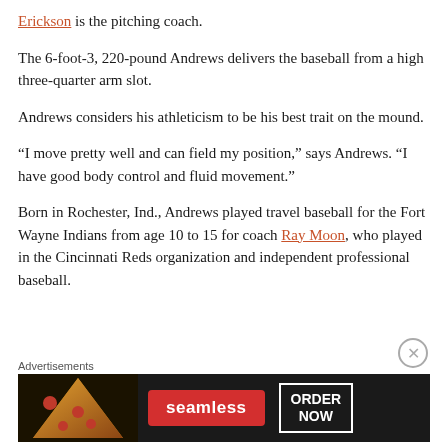Erickson is the pitching coach.
The 6-foot-3, 220-pound Andrews delivers the baseball from a high three-quarter arm slot.
Andrews considers his athleticism to be his best trait on the mound.
“I move pretty well and can field my position,” says Andrews. “I have good body control and fluid movement.”
Born in Rochester, Ind., Andrews played travel baseball for the Fort Wayne Indians from age 10 to 15 for coach Ray Moon, who played in the Cincinnati Reds organization and independent professional baseball.
[Figure (other): Seamless food delivery advertisement banner with pizza image, Seamless logo, and ORDER NOW button]